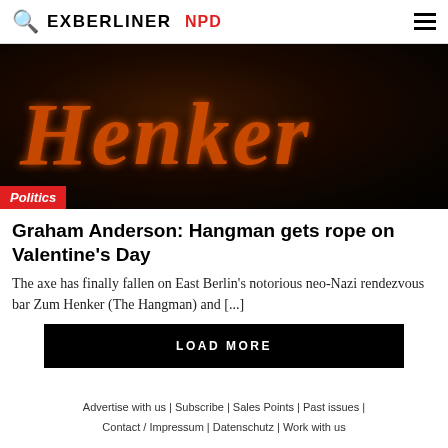EXBERLINER  NPD
[Figure (photo): Dark photo of illuminated Gothic-style sign reading 'Henker' with orange/red glow against a dark background. A 'Politics' category badge is overlaid at the bottom left.]
Graham Anderson: Hangman gets rope on Valentine's Day
The axe has finally fallen on East Berlin's notorious neo-Nazi rendezvous bar Zum Henker (The Hangman) and [...]
LOAD MORE
Advertise with us | Subscribe | Sales Points | Past issues | Contact / Impressum | Datenschutz | Work with us